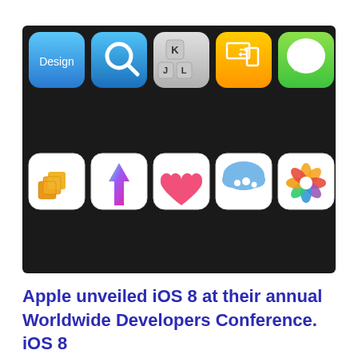[Figure (screenshot): A grid of 10 iOS 8 app icons on a dark background, arranged in two rows of five. Top row: a blue 'Design' app icon, a blue search/magnifying glass icon, a grey keyboard icon with keys J K L, an orange device migration icon, and a green Messages bubble icon. Bottom row: a white icon with orange/yellow stacked cube shapes (iCloud Drive), a white icon with a colorful upward arrow (Home app or similar), a white icon with a pink heart (Health), a white icon with a blue cloud and family silhouettes (Family Sharing), and a white icon with a colorful flower/pinwheel (Photos).]
Apple unveiled iOS 8 at their annual Worldwide Developers Conference. iOS 8